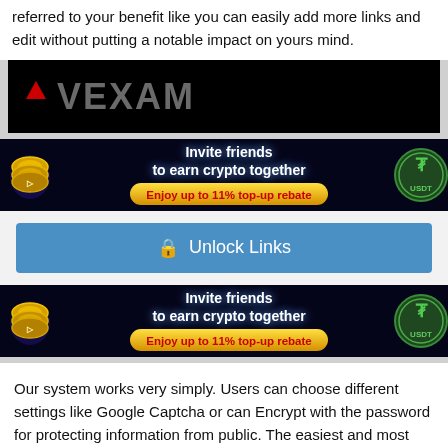referred to your benefit like you can easily add more links and edit without putting a notable impact on yours mind.
[Figure (logo): VEXAM logo with downward-pointing red triangle on black background]
[Figure (illustration): Crypto invite advertisement banner: 'Invite friends to earn crypto together - Enjoy up to 11% top-up rebate' with golden coins and USDT coin on dark background]
Unlock Links
[Figure (illustration): Crypto invite advertisement banner: 'Invite friends to earn crypto together - Enjoy up to 11% top-up rebate' with golden coins and USDT coin on dark background]
Our system works very simply. Users can choose different settings like Google Captcha or can Encrypt with the password for protecting information from public. The easiest and most common way to protected links through our service is to go to our main page (home page), input your links in the text area (box) and press the "Protect your links" button. This will generate a results page where